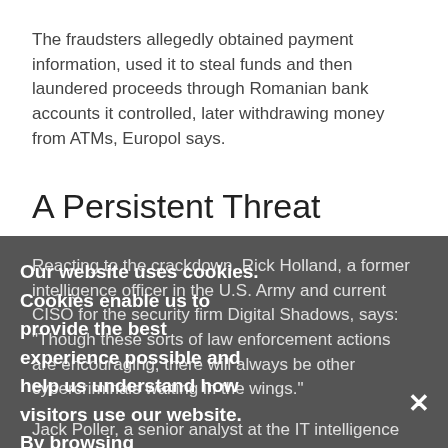The fraudsters allegedly obtained payment information, used it to steal funds and then laundered proceeds through Romanian bank accounts it controlled, later withdrawing money from ATMs, Europol says.
A Persistent Threat
Reacting to the crackdown, Rick Holland, a former intelligence officer in the U.S. Army and current CISO for the security firm Digital Shadows, says: "Though these sorts of law enforcement actions are encouraging, there will always be other cybercriminals waiting in the wings."
Jack Poller, a senior analyst at the IT intelligence firm Enterprise Strategy Group, says email fraud is a persistent threat.
"Most organizations consider email to be one of their top
Our website uses cookies. Cookies enable us to provide the best experience possible and help us understand how visitors use our website. By browsing databreachtoday.com, you agree to our use of cookies.